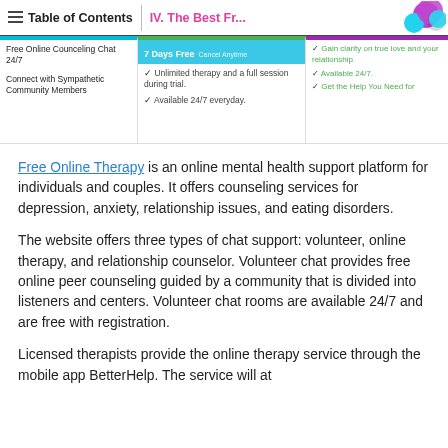Table of Contents | IV. The Best Fr...
[Figure (screenshot): Screenshot of online therapy comparison cards: Free Online Counseling Chat 24/7, Connect with Sympathetic Community Members; 7 Days Free Cancel Anytime – Unlimited therapy and a full session during trial, Available 24/7 everyday; and a third card with checkmarks – Gain clarity on true love and your relationship, Available 24/7, Get the Help You Need for...]
Free Online Therapy is an online mental health support platform for individuals and couples. It offers counseling services for depression, anxiety, relationship issues, and eating disorders.
The website offers three types of chat support: volunteer, online therapy, and relationship counselor. Volunteer chat provides free online peer counseling guided by a community that is divided into listeners and centers. Volunteer chat rooms are available 24/7 and are free with registration.
Licensed therapists provide the online therapy service through the mobile app BetterHelp. The service will at...